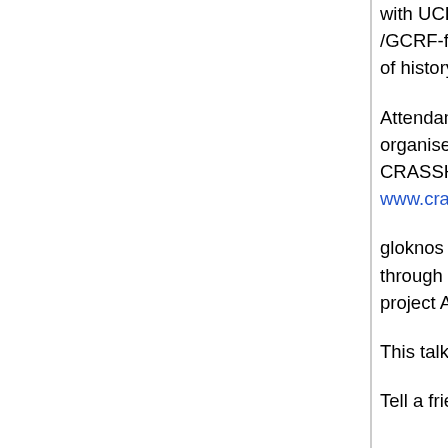with UCL Press in 2019. With UK and Iraqi colleagues she runs the AHRC /GCRF-funded Nahrein Network, which fosters the sustainable development of history, heritage and the humanities in Iraq and its neighbours.
Attendance at this lecture is free but spaces are limited, so please email the organiser to reserve your seat, at sjp229@cam.ac.uk. You can also visit the CRASSH website: www.crassh.cam.ac.uk/events/28077
gloknos is initially funded for 5 years by the European Research Council through a Consolidator Grant awarded to Dr.Inanna Hamati-Ataya for her project ARTEFACT (2017-2022) ERC grant no. 724451.
This talk is part of the CRASSH series.
Tell a friend about this talk...